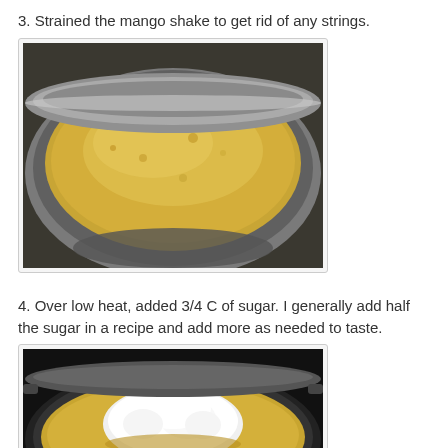3. Strained the mango shake to get rid of any strings.
[Figure (photo): A strainer/colander viewed from above containing strained yellow mango purée, sitting in a metal bowl. The liquid is bright golden-yellow.]
4. Over low heat, added 3/4 C of sugar. I generally add half the sugar in a recipe and add more as needed to taste.
[Figure (photo): A dark pot or pan with yellow mango purée and a mound of white sugar being added on top, viewed from above against a dark background.]